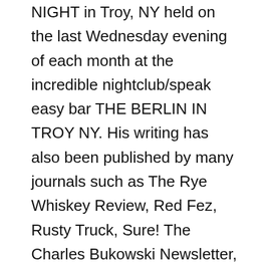NIGHT in Troy, NY held on the last Wednesday evening of each month at the incredible nightclub/speak easy bar THE BERLIN IN TROY NY. His writing has also been published by many journals such as The Rye Whiskey Review, Red Fez, Rusty Truck, Sure! The Charles Bukowski Newsletter, Thunder Sandwich, The Hobo Camp Review, Full of Crow, on the Outlaw Poetry Network & in many many others. Look for his books "WHERE THE PEOPLE'S VISION PERISHES 2020" "DARK LANDS (2019 on LuLu, Amazon & At Barnes and Noble) The Resurrection Waltz, 2012 ( Infinity Press) & "COFFEE ASS BLUES & OTHER POEMS" ( 2018 Alien Buddha Press 2018) "DarkLands" 2019 & "Where There Is No Vision"